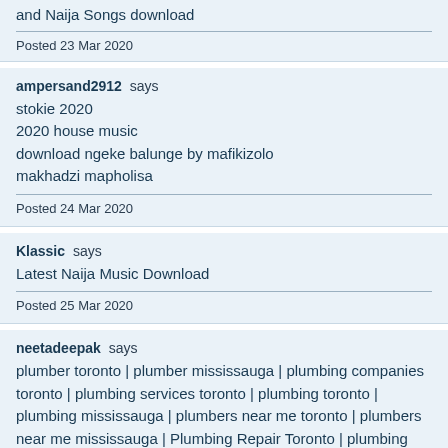and Naija Songs download
Posted 23 Mar 2020
ampersand2912 says
stokie 2020
2020 house music
download ngeke balunge by mafikizolo
makhadzi mapholisa
Posted 24 Mar 2020
Klassic says
Latest Naija Music Download
Posted 25 Mar 2020
neetadeepak says
plumber toronto | plumber mississauga | plumbing companies toronto | plumbing services toronto | plumbing toronto | plumbing mississauga | plumbers near me toronto | plumbers near me mississauga | Plumbing Repair Toronto | plumbing companies mississauga | plumbing services mississauga | Drain Repair